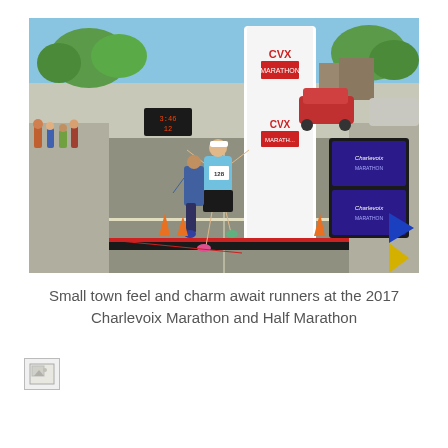[Figure (photo): A female runner wearing bib number 128 crosses the finish line at the CVX Marathon/Half Marathon (Charlevoix). Her arms are raised in celebration. Behind her is a large white inflatable arch branded with CVX Marathon. Orange traffic cones, a digital clock, spectators, trees, and parked cars are visible. On the right side are colorful flags and Charlevoix race signage.]
Small town feel and charm await runners at the 2017 Charlevoix Marathon and Half Marathon
[Figure (photo): A small broken/missing image placeholder icon in the lower left of the page.]